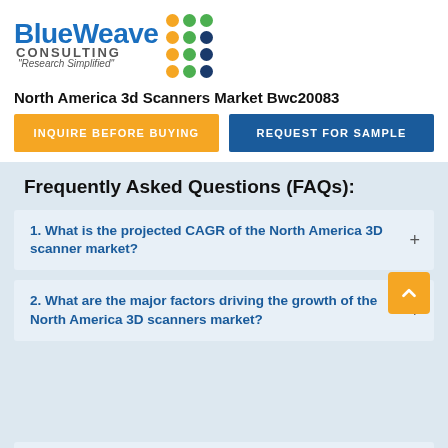[Figure (logo): BlueWeave Consulting logo with colorful dot grid and tagline 'Research Simplified']
North America 3d Scanners Market Bwc20083
INQUIRE BEFORE BUYING
REQUEST FOR SAMPLE
Frequently Asked Questions (FAQs):
1. What is the projected CAGR of the North America 3D scanner market?
2. What are the major factors driving the growth of the North America 3D scanners market?
3. Who are the key players in the North America 3D scanners market?